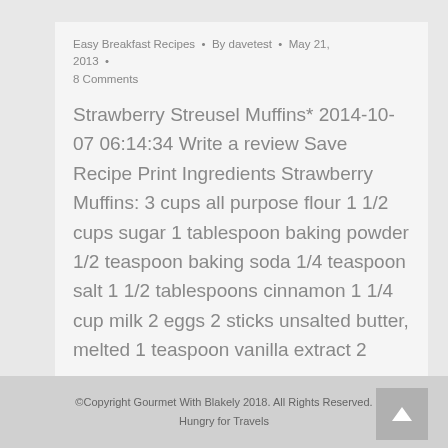Easy Breakfast Recipes · By davetest · May 21, 2013 · 8 Comments
Strawberry Streusel Muffins* 2014-10-07 06:14:34 Write a review Save Recipe Print Ingredients Strawberry Muffins: 3 cups all purpose flour 1 1/2 cups sugar 1 tablespoon baking powder 1/2 teaspoon baking soda 1/4 teaspoon salt 1 1/2 tablespoons cinnamon 1 1/4 cup milk 2 eggs 2 sticks unsalted butter, melted 1 teaspoon vanilla extract 2 cups…
©Copyright Gourmet With Blakely 2018. All Rights Reserved. Hungry for Travels